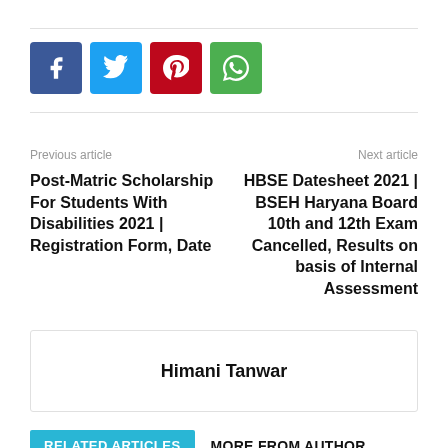[Figure (other): Social sharing buttons: Facebook (blue), Twitter (light blue), Pinterest (red), WhatsApp (green)]
Previous article
Next article
Post-Matric Scholarship For Students With Disabilities 2021 | Registration Form, Date
HBSE Datesheet 2021 | BSEH Haryana Board 10th and 12th Exam Cancelled, Results on basis of Internal Assessment
Himani Tanwar
RELATED ARTICLES
MORE FROM AUTHOR